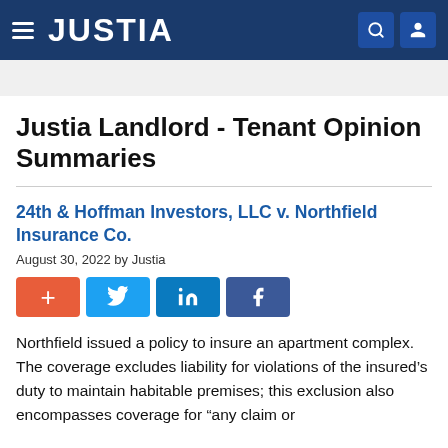JUSTIA
Justia Landlord - Tenant Opinion Summaries
24th & Hoffman Investors, LLC v. Northfield Insurance Co.
August 30, 2022 by Justia
Northfield issued a policy to insure an apartment complex. The coverage excludes liability for violations of the insured's duty to maintain habitable premises; this exclusion also encompasses coverage for “any claim or